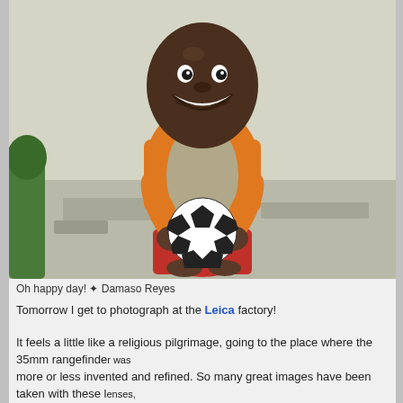[Figure (photo): A smiling young African boy wearing an orange shirt and red pants, crouching and holding a small soccer ball toward the camera. Background is a light concrete/stone wall.]
Oh happy day! ❧ Damaso Reyes
Tomorrow I get to photograph at the Leica factory!
It feels a little like a religious pilgrimage, going to the place where the 35mm rangefinder was more or less invented and refined. So many great images have been taken with these lenses, it should be a fun little excursion.